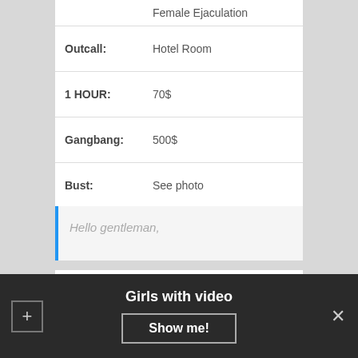|  | Female Ejaculation |
| Outcall: | Hotel Room |
| 1 HOUR: | 70$ |
| Gangbang: | 500$ |
| Bust: | See photo |
|  | Send a massage |
Hello gentleman,
Alexander
[Figure (photo): Dark photo strip at bottom of profile]
Girls with video
Show me!